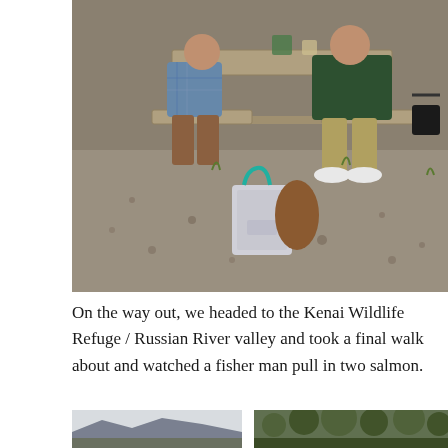[Figure (photo): Two people sitting at an outdoor wooden picnic table on gravel. One wears a plaid shirt and brown pants; the other wears a dark green jacket and khaki pants with white sneakers. A patterned teal-handle tote bag and a brown bag sit on the ground beneath the table.]
On the way out, we headed to the Kenai Wildlife Refuge / Russian River valley and took a final walk about and watched a fisher man pull in two salmon.
[Figure (photo): Landscape photo showing mountains and sky with a hazy horizon.]
[Figure (photo): Photo of dense green forest or shrub vegetation on a slope.]